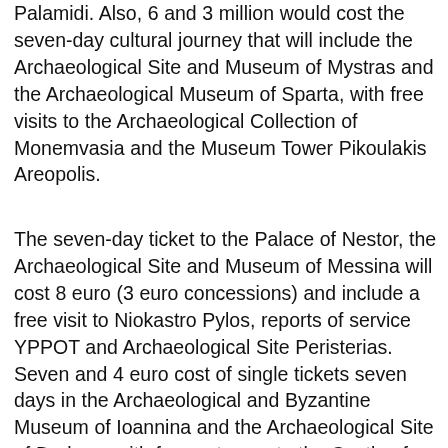Palamidi. Also, 6 and 3 million would cost the seven-day cultural journey that will include the Archaeological Site and Museum of Mystras and the Archaeological Museum of Sparta, with free visits to the Archaeological Collection of Monemvasia and the Museum Tower Pikoulakis Areopolis.
The seven-day ticket to the Palace of Nestor, the Archaeological Site and Museum of Messina will cost 8 euro (3 euro concessions) and include a free visit to Niokastro Pylos, reports of service YPPOT and Archaeological Site Peristerias. Seven and 4 euro cost of single tickets seven days in the Archaeological and Byzantine Museum of Ioannina and the Archaeological Site of Dodona, with free entrance to the Castle of Ioannina, in photographic exhibitions of Konitsa and